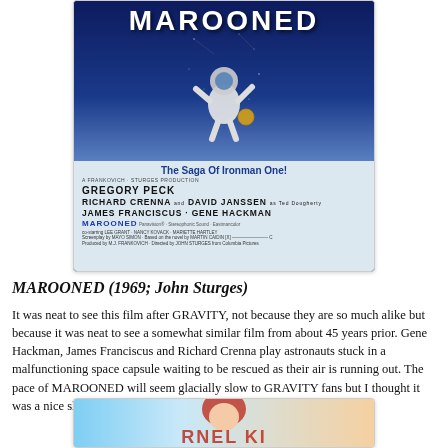[Figure (photo): Movie poster for MAROONED (1969) showing an astronaut floating in space against a dark blue star-filled background. Lower portion shows billing block with cast: Gregory Peck, Richard Crenna, David Janssen, James Franciscus, Gene Hackman. Text reads 'The Saga Of Ironman One!']
MAROONED (1969; John Sturges)
It was neat to see this film after GRAVITY, not because they are so much alike but because it was neat to see a somewhat similar film from about 45 years prior. Gene Hackman, James Franciscus and Richard Crenna play astronauts stuck in a malfunctioning space capsule waiting to be rescued as their air is running out. The pace of MAROONED will seem glacially slow to GRAVITY fans but I thought it was a nice slow burn drama.
[Figure (photo): Partial view of another movie poster at the bottom of the page, showing a red-haired woman and colorful text partially visible.]